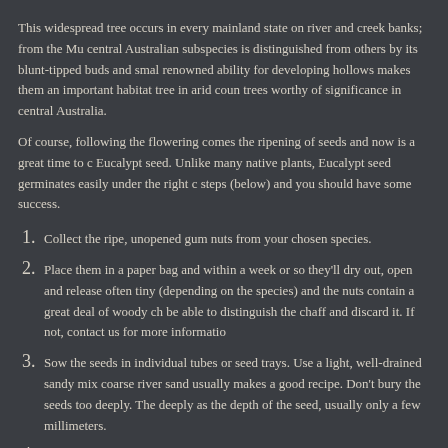This widespread tree occurs in every mainland state on river and creek banks; from the Mu... central Australian subspecies is distinguished from others by its blunt-tipped buds and smal... renowned ability for developing hollows makes them an important habitat tree in arid coun... trees worthy of significance in central Australia.
Of course, following the flowering comes the ripening of seeds and now is a great time to c... Eucalypt seed. Unlike many native plants, Eucalypt seed germinates easily under the right c... steps (below) and you should have some success.
Collect the ripe, unopened gum nuts from your chosen species.
Place them in a paper bag and within a week or so they'll dry out, open and release... often tiny (depending on the species) and the nuts contain a great deal of woody ch... be able to distinguish the chaff and discard it. If not, contact us for more informatio...
Sow the seeds in individual tubes or seed trays. Use a light, well-drained sandy mix... coarse river sand usually makes a good recipe. Don't bury the seeds too deeply. The... deeply as the depth of the seed, usually only a few millimeters.
Place the sown seeds in a warm place and keep moist, but not too wet. Right now, t...